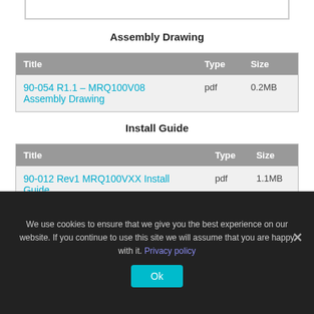Assembly Drawing
| Title | Type | Size |
| --- | --- | --- |
| 90-054 R1.1 – MRQ100V08 Assembly Drawing | pdf | 0.2MB |
Install Guide
| Title | Type | Size |
| --- | --- | --- |
| 90-012 Rev1 MRQ100VXX Install Guide | pdf | 1.1MB |
We use cookies to ensure that we give you the best experience on our website. If you continue to use this site we will assume that you are happy with it. Privacy policy
Ok